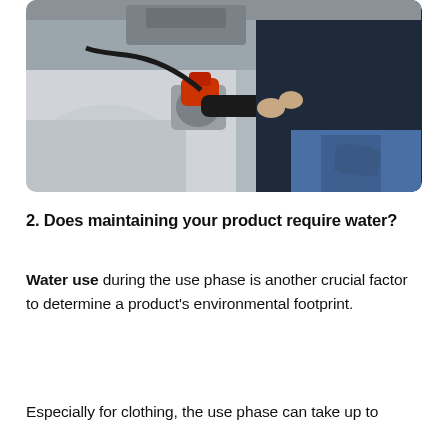[Figure (photo): A person in a dark jacket and jeans fueling a white car with a red and black fuel nozzle at a gas station.]
2. Does maintaining your product require water?
Water use during the use phase is another crucial factor to determine a product's environmental footprint.
Especially for clothing, the use phase can take up to